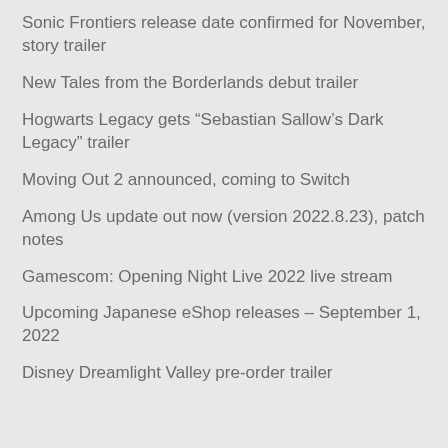Sonic Frontiers release date confirmed for November, story trailer
New Tales from the Borderlands debut trailer
Hogwarts Legacy gets “Sebastian Sallow’s Dark Legacy” trailer
Moving Out 2 announced, coming to Switch
Among Us update out now (version 2022.8.23), patch notes
Gamescom: Opening Night Live 2022 live stream
Upcoming Japanese eShop releases – September 1, 2022
Disney Dreamlight Valley pre-order trailer